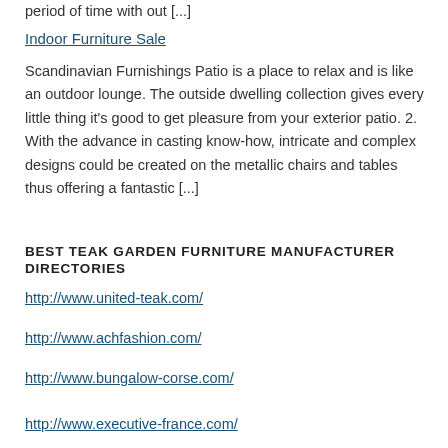period of time with out [...]
Indoor Furniture Sale
Scandinavian Furnishings Patio is a place to relax and is like an outdoor lounge. The outside dwelling collection gives every little thing it's good to get pleasure from your exterior patio. 2. With the advance in casting know-how, intricate and complex designs could be created on the metallic chairs and tables thus offering a fantastic [...]
BEST TEAK GARDEN FURNITURE MANUFACTURER DIRECTORIES
http://www.united-teak.com/
http://www.achfashion.com/
http://www.bungalow-corse.com/
http://www.executive-france.com/